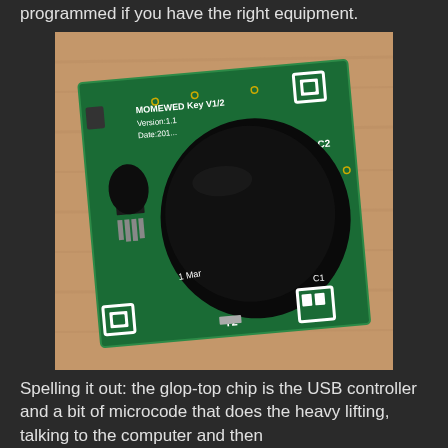programmed if you have the right equipment.
[Figure (photo): A small green PCB (printed circuit board) photographed on a wooden surface. The board features a large black glop-top chip in the center, a small transistor or IC on the left side with pins, white silkscreen text reading 'MOMEWED Key V1/2', 'Version:1.1', 'Date:201..', and test points labeled T2, C2, C1. White square fiducial markers are visible at corners.]
Spelling it out: the glop-top chip is the USB controller and a bit of microcode that does the heavy lifting, talking to the computer and then